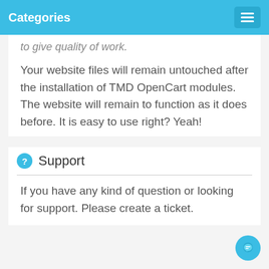Categories
to give quality of work.
Your website files will remain untouched after the installation of TMD OpenCart modules. The website will remain to function as it does before. It is easy to use right? Yeah!
Support
If you have any kind of question or looking for support. Please create a ticket.